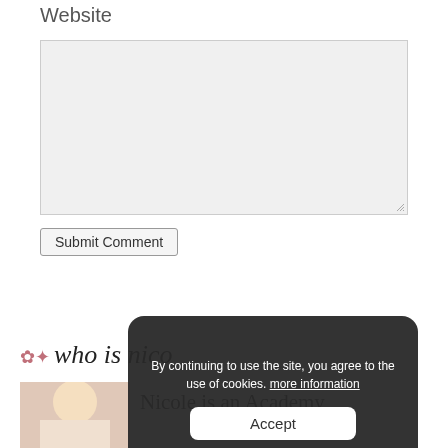Website
[Figure (screenshot): A large empty textarea input field with light gray background and resize handle in the bottom-right corner]
Submit Comment
[Figure (screenshot): Website sidebar showing 'who is nico' logo/header with decorative bird icon in pink, and a partial photo of a blonde person]
Nicole is an Academy
By continuing to use the site, you agree to the use of cookies. more information
Accept